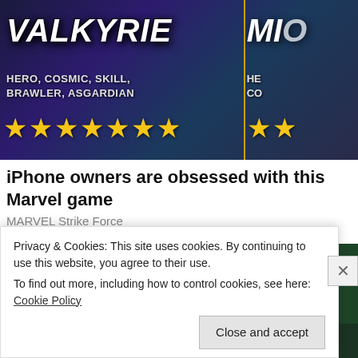[Figure (screenshot): Marvel Strike Force game advertisement showing Valkyrie character with HERO, COSMIC, SKILL, BRAWLER, ASGARDIAN tags and 7 yellow stars, and a partially visible second character (MIC...) with stars on the right]
iPhone owners are obsessed with this Marvel game
MARVEL Strike Force
[Figure (photo): Partially visible photo of a person, appears to be a news article thumbnail]
Privacy & Cookies: This site uses cookies. By continuing to use this website, you agree to their use.
To find out more, including how to control cookies, see here: Cookie Policy
Close and accept